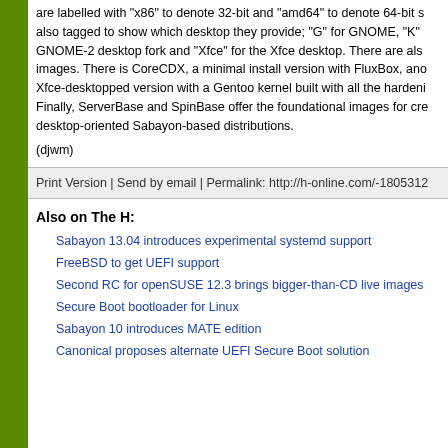are labelled with "x86" to denote 32-bit and "amd64" to denote 64-bit s also tagged to show which desktop they provide; "G" for GNOME, "K" GNOME-2 desktop fork and "Xfce" for the Xfce desktop. There are alsi images. There is CoreCDX, a minimal install version with FluxBox, ano Xfce-desktopped version with a Gentoo kernel built with all the hardeni Finally, ServerBase and SpinBase offer the foundational images for cre desktop-oriented Sabayon-based distributions.
(djwm)
Print Version | Send by email | Permalink: http://h-online.com/-1805312
Also on The H:
Sabayon 13.04 introduces experimental systemd support
FreeBSD to get UEFI support
Second RC for openSUSE 12.3 brings bigger-than-CD live images
Secure Boot bootloader for Linux
Sabayon 10 introduces MATE edition
Canonical proposes alternate UEFI Secure Boot solution